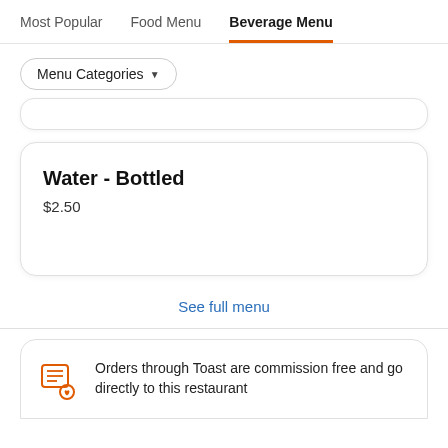Most Popular   Food Menu   Beverage Menu
Menu Categories ▼
Water - Bottled
$2.50
See full menu
Orders through Toast are commission free and go directly to this restaurant